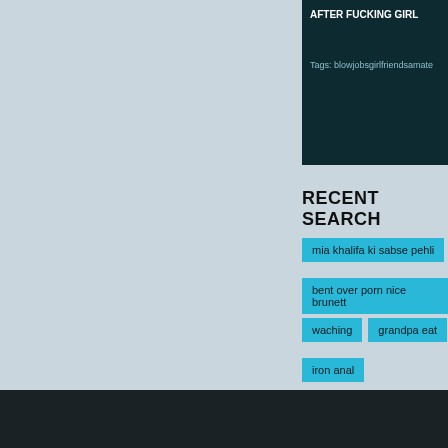AFTER FUCKING GIRL
Tags: blowjobsgirlfriendsamate
RECENT SEARCH
mia khalifa ki sabse pehli
bent over porn nice brunett
waching
grandpa eat
iron anal